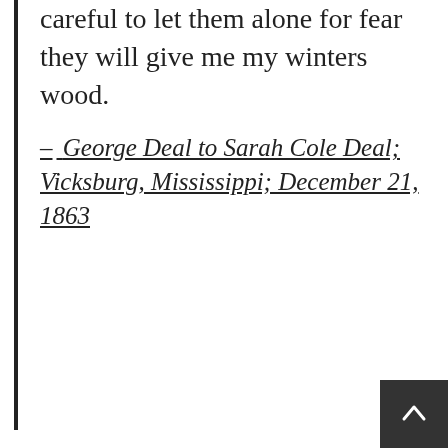careful to let them alone for fear they will give me my winters wood.
– George Deal to Sarah Cole Deal; Vicksburg, Mississippi; December 21, 1863
No amount of Googling reveals what "winters wood" meant in 1863—maybe that's for the best.
[Figure (map): Historical map of Shelby County, Ohio, showing town grids, road lines, and a decorative cartouche with a building illustration. Red-outlined rectangle visible in lower portion.]